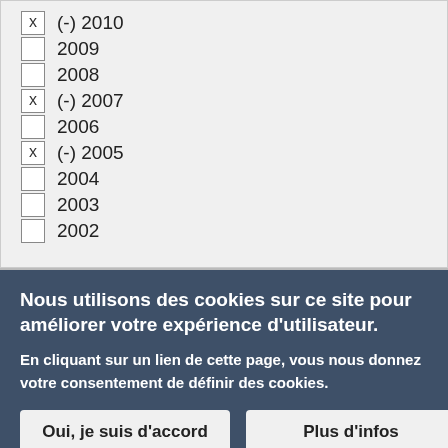(x) (-) 2010
2009
2008
(x) (-) 2007
2006
(x) (-) 2005
2004
2003
2002
Nous utilisons des cookies sur ce site pour améliorer votre expérience d'utilisateur.
En cliquant sur un lien de cette page, vous nous donnez votre consentement de définir des cookies.
Oui, je suis d'accord | Plus d'infos